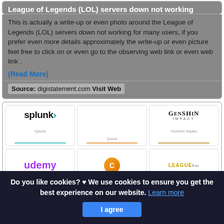League of Legends (LOL) servers down not working
This is actually a write-up or even photo around the League of Legends (LOL) servers down not working for many users, if you prefer even more details approximately the write-up or even picture feel free to click on or even go to the observing web link or even web link .
(Read More)
Source: digistatement.com Visit Web
[Figure (logo): Grid of logos including Splunk, Quora, Genshin Impact, Udemy, Crunchyroll, League of Legends]
Do you like cookies? ♥ We use cookies to ensure you get the best experience on our website. Learn more
I agree